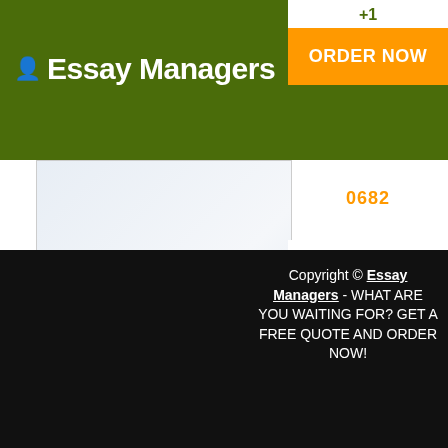Essay Managers
+1
ORDER NOW
0682
[Figure (illustration): Placeholder ad image [260x260] with light blue-grey gradient background]
Manage your orders
Asav Sam Essay Managers +1 (857) 250 0682
info@essaymanagers.com
Copyright © Essay Managers - WHAT ARE YOU WAITING FOR? GET A FREE QUOTE AND ORDER NOW!